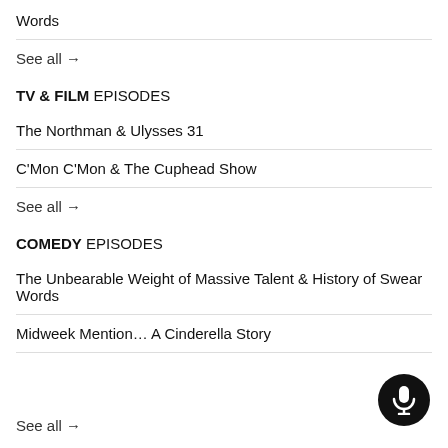Words
See all →
TV & FILM EPISODES
The Northman & Ulysses 31
C'Mon C'Mon & The Cuphead Show
See all →
COMEDY EPISODES
The Unbearable Weight of Massive Talent & History of Swear Words
Midweek Mention… A Cinderella Story
See all →